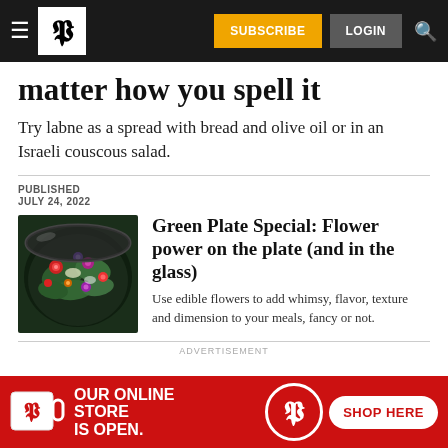SUBSCRIBE LOGIN
matter how you spell it
Try labne as a spread with bread and olive oil or in an Israeli couscous salad.
PUBLISHED
JULY 24, 2022
[Figure (photo): Bowl of salad with edible flowers and greens]
Green Plate Special: Flower power on the plate (and in the glass)
Use edible flowers to add whimsy, flavor, texture and dimension to your meals, fancy or not.
ADVERTISEMENT
[Figure (infographic): Advertisement banner: OUR ONLINE STORE IS OPEN. SHOP HERE with P logo mug image]